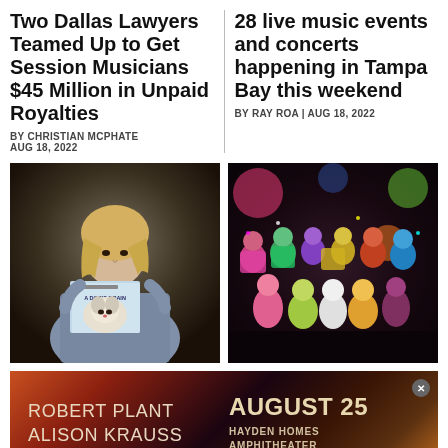Two Dallas Lawyers Teamed Up to Get Session Musicians $45 Million in Unpaid Royalties
BY CHRISTIAN MCPHATE
AUG 18, 2022
28 live music events and concerts happening in Tampa Bay this weekend
BY RAY ROA | AUG 18, 2022
[Figure (photo): Person with blonde hair reading a book titled 'A Dog's Brain' with a dog on the cover]
[Figure (photo): Group of performers in colorful costumes and elaborate makeup posed together]
[Figure (other): Advertisement for Robert Plant and Alison Krauss concert on August 25 at Hayden Homes Amphitheater]